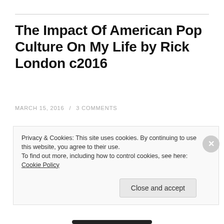The Impact Of American Pop Culture On My Life by Rick London c2016
MARCH 15, 2016 / 3 COMMENTS
I can remember what was probably my first, or one of my first record players (turntables), and playing my favorite records all the way back to age 5, though I had it several years before that, and I remember playing it, the details
Privacy & Cookies: This site uses cookies. By continuing to use this website, you agree to their use.
To find out more, including how to control cookies, see here: Cookie Policy
[Close and accept]